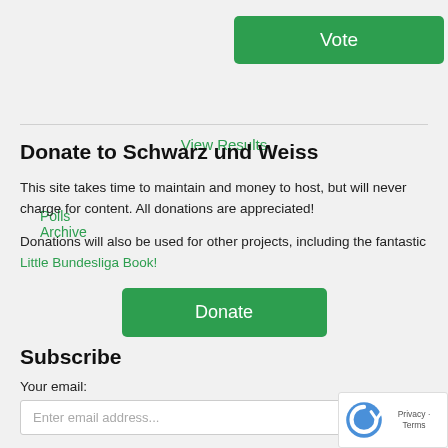Vote
View Results
Polls Archive
Donate to Schwarz und Weiss
This site takes time to maintain and money to host, but will never charge for content. All donations are appreciated!
Donations will also be used for other projects, including the fantastic Little Bundesliga Book!
Donate
Subscribe
Your email:
Enter email address...